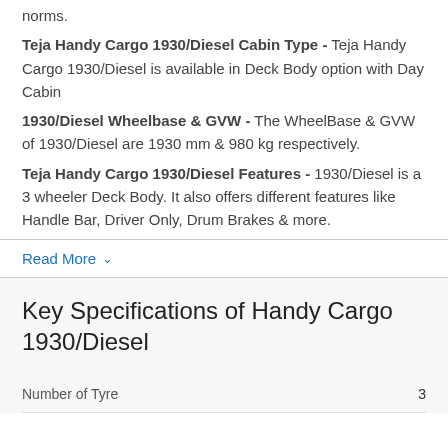norms.
Teja Handy Cargo 1930/Diesel Cabin Type - Teja Handy Cargo 1930/Diesel is available in Deck Body option with Day Cabin
1930/Diesel Wheelbase & GVW - The WheelBase & GVW of 1930/Diesel are 1930 mm & 980 kg respectively.
Teja Handy Cargo 1930/Diesel Features - 1930/Diesel is a 3 wheeler Deck Body. It also offers different features like Handle Bar, Driver Only, Drum Brakes & more.
Read More ˅
Key Specifications of Handy Cargo 1930/Diesel
|  |  |
| --- | --- |
| Number of Tyre | 3 |